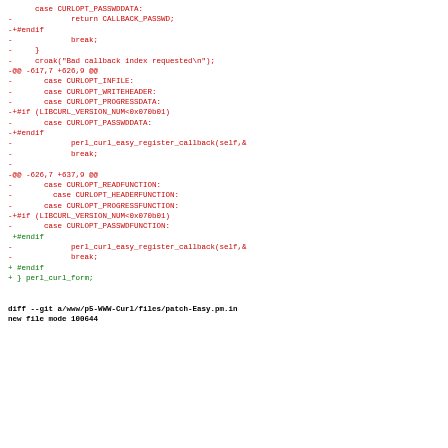[Figure (other): Code diff showing removed and added lines in red and green monospace text, with diff hunks for CURLOPT options and perl_curl functions]